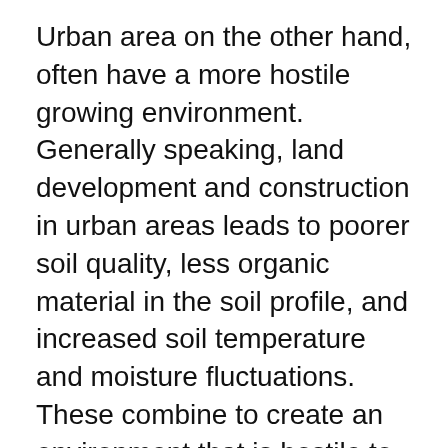Urban area on the other hand, often have a more hostile growing environment. Generally speaking, land development and construction in urban areas leads to poorer soil quality, less organic material in the soil profile, and increased soil temperature and moisture fluctuations. These combine to create an environment that is hostile to the establishment and health of landscape plants. Applying a 2-4" layer of the proper organic mulch in these areas can create a more natural environment for trees, shrubs, and plants.
When considering trees, it is important to remember that tree roots are not a mirror image of the top of the tree. Roots can in